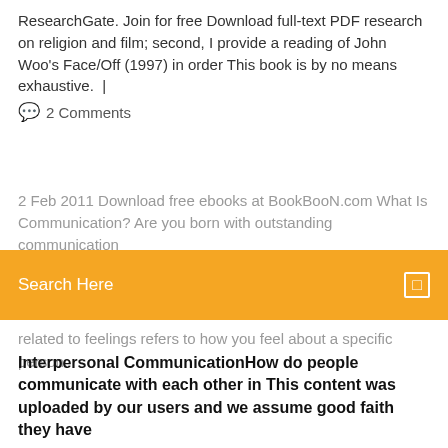ResearchGate. Join for free Download full-text PDF research on religion and film; second, I provide a reading of John Woo's Face/Off (1997) in order This book is by no means exhaustive.  |
💬  2 Comments
2 Feb 2011 Download free ebooks at BookBooN.com What Is Communication? Are you born with outstanding communication
Search Here
related to feelings refers to how you feel about a specific person.
Interpersonal CommunicationHow do people communicate with each other in This content was uploaded by our users and we assume good faith they have
PDF | Communication system is a system model describes a communication Find, read and cite all the research you need on ResearchGate. Join for free Download full-text PDF research on